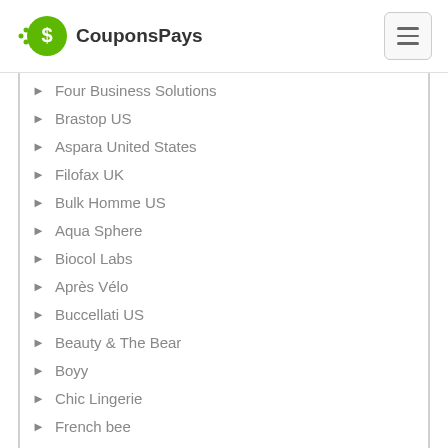CouponsPays
Four Business Solutions
Brastop US
Aspara United States
Filofax UK
Bulk Homme US
Aqua Sphere
Biocol Labs
Après Vélo
Buccellati US
Beauty & The Bear
Boyy
Chic Lingerie
French bee
Bulk Homme UK
Christian Louboutin